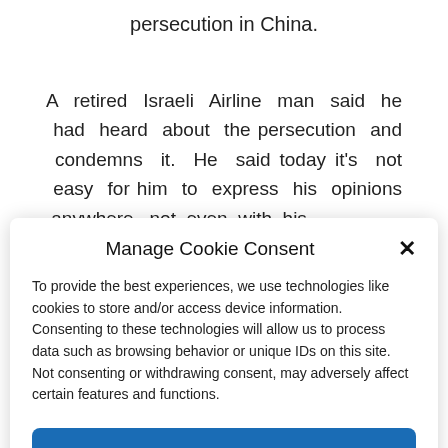persecution in China.
A retired Israeli Airline man said he had heard about the persecution and condemns it. He said today it's not easy for him to express his opinions anywhere. not even with his
Manage Cookie Consent
To provide the best experiences, we use technologies like cookies to store and/or access device information. Consenting to these technologies will allow us to process data such as browsing behavior or unique IDs on this site. Not consenting or withdrawing consent, may adversely affect certain features and functions.
Accept
Privacy Statement